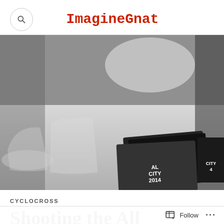ImagineGnat
[Figure (photo): Black and white photo of plastic beer cups and All City 2014 cyclocross promotional cards/flyers on a table, with a person in background]
CYCLOCROSS
Shooting the All